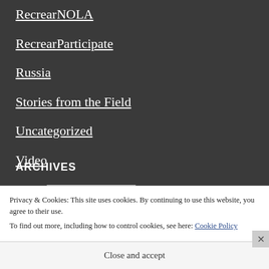RecrearNOLA
RecrearParticipate
Russia
Stories from the Field
Uncategorized
Video
What I have learned at Recrear
ARCHIVES
Select Month
Privacy & Cookies: This site uses cookies. By continuing to use this website, you agree to their use.
To find out more, including how to control cookies, see here: Cookie Policy
Close and accept